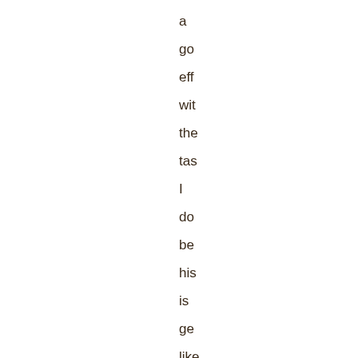a
go
eff
wit
the
tas
I
do
be
his
is
ge
like
in
the
ho

I